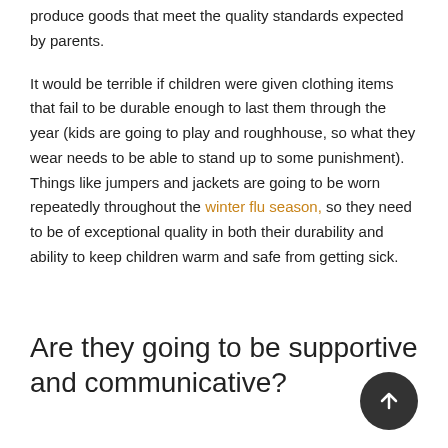produce goods that meet the quality standards expected by parents.
It would be terrible if children were given clothing items that fail to be durable enough to last them through the year (kids are going to play and roughhouse, so what they wear needs to be able to stand up to some punishment). Things like jumpers and jackets are going to be worn repeatedly throughout the winter flu season, so they need to be of exceptional quality in both their durability and ability to keep children warm and safe from getting sick.
Are they going to be supportive and communicative?